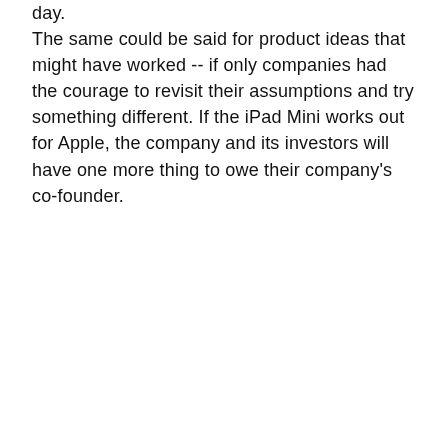day. The same could be said for product ideas that might have worked -- if only companies had the courage to revisit their assumptions and try something different. If the iPad Mini works out for Apple, the company and its investors will have one more thing to owe their company's co-founder.